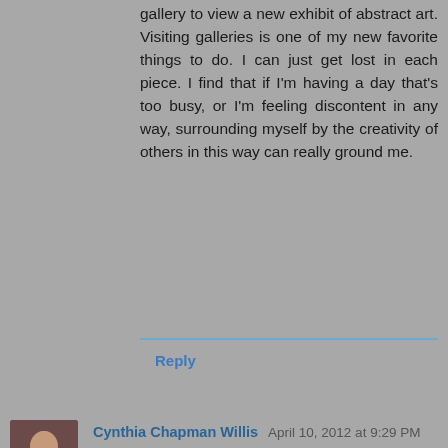gallery to view a new exhibit of abstract art. Visiting galleries is one of my new favorite things to do. I can just get lost in each piece. I find that if I'm having a day that's too busy, or I'm feeling discontent in any way, surrounding myself by the creativity of others in this way can really ground me.
Reply
Cynthia Chapman Willis  April 10, 2012 at 9:29 PM
Wonderful post. I am so impatient, but I know I need to be patient. It's the much wiser way to write. We can't force the muse.
Reply
▼  Replies
Ruth Schiffmann  April 12, 2012 at 1:19 PM
Being impatient usually doesn't help me to write